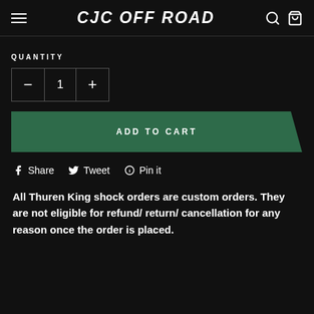CJC OFF ROAD
QUANTITY
— 1 +
ADD TO CART
Share   Tweet   Pin it
All Thuren King shock orders are custom orders. They are not eligible for refund/ return/ cancellation for any reason once the order is placed.